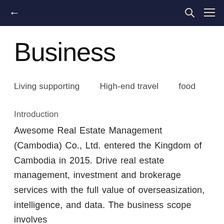← Business (navigation bar with search and menu icons)
Business
Living supporting   High-end travel   food   enter
Introduction
Awesome Real Estate Management (Cambodia) Co., Ltd. entered the Kingdom of Cambodia in 2015. Drive real estate management, investment and brokerage services with the full value of overseasization, intelligence, and data. The business scope involves following categories: